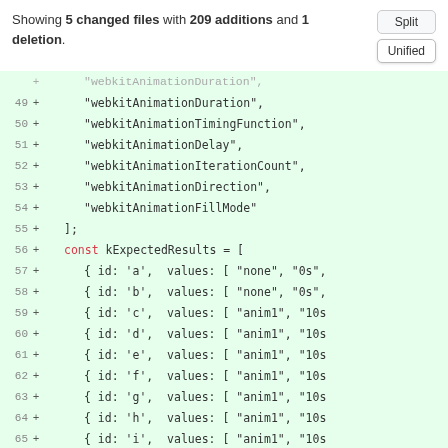Showing 5 changed files with 209 additions and 1 deletion.
[Figure (screenshot): Code diff view showing added lines 49-67 with webkit animation properties and kExpectedResults array]
Split / Unified buttons